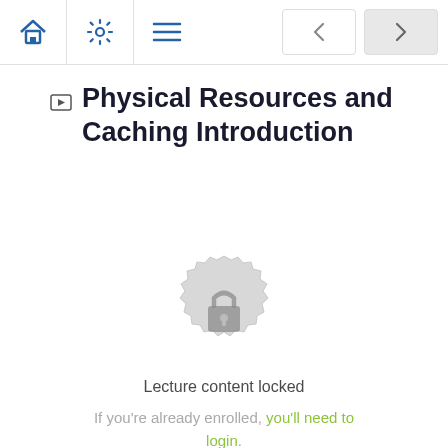Navigation bar with home, settings, menu icons and back/forward buttons
Physical Resources and Caching Introduction
[Figure (illustration): A circular badge/seal icon in light gray with a padlock in the center, indicating locked content]
Lecture content locked
If you're already enrolled, you'll need to login.